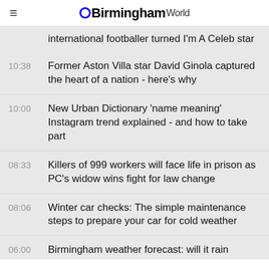≡ BirminghamWorld
international footballer turned I'm A Celeb star
10:38  Former Aston Villa star David Ginola captured the heart of a nation - here's why
10:00  New Urban Dictionary 'name meaning' Instagram trend explained - and how to take part
08:33  Killers of 999 workers will face life in prison as PC's widow wins fight for law change
08:06  Winter car checks: The simple maintenance steps to prepare your car for cold weather
06:00  Birmingham weather forecast: will it rain today?